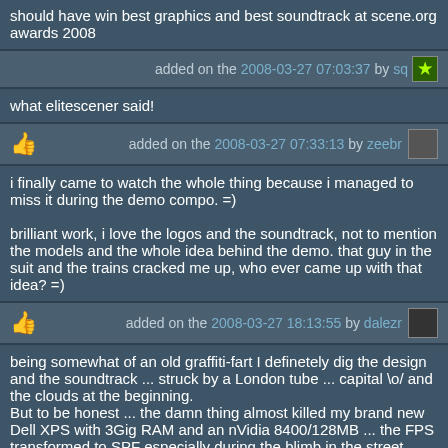should have win best graphics and best soundtrack at scene.org awards 2008
added on the 2008-03-27 07:03:37 by sq
what elitescener said!
added on the 2008-03-27 07:33:13 by zeebr
i finally came to watch the whole thing because i managed to miss it during the demo compo. =)

brilliant work, i love the logos and the soundtrack, not to mention the models and the whole idea behind the demo. that guy in the suit and the trains cracked me up, who ever came up with that idea? =)
added on the 2008-03-27 18:13:55 by dalezr
being somewhat of an old graffiti-fart I definetely dig the design and the soundtrack ... struck by a London tube ... capital \o/ and the clouds at the beginning.
But to be honest ... the damn thing almost killed my brand new Dell XPS with 3Gig RAM and an nVidia 8400/128MB ... the FPS transformed to SPF especially during the blimb in the street
added on the 2008-03-27 22:50:12 by d0DgE